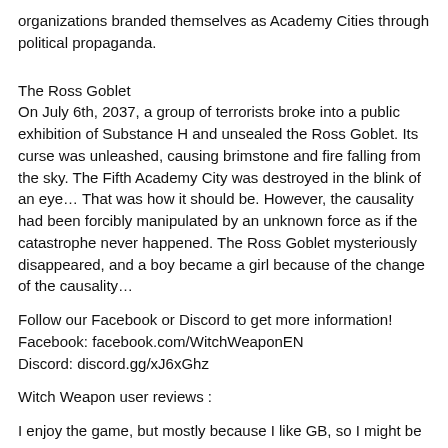organizations branded themselves as Academy Cities through political propaganda.
The Ross Goblet
On July 6th, 2037, a group of terrorists broke into a public exhibition of Substance H and unsealed the Ross Goblet. Its curse was unleashed, causing brimstone and fire falling from the sky. The Fifth Academy City was destroyed in the blink of an eye… That was how it should be. However, the causality had been forcibly manipulated by an unknown force as if the catastrophe never happened. The Ross Goblet mysteriously disappeared, and a boy became a girl because of the change of the causality…
Follow our Facebook or Discord to get more information!
Facebook: facebook.com/WitchWeaponEN
Discord: discord.gg/xJ6xGhz
Witch Weapon user reviews :
I enjoy the game, but mostly because I like GB, so I might be